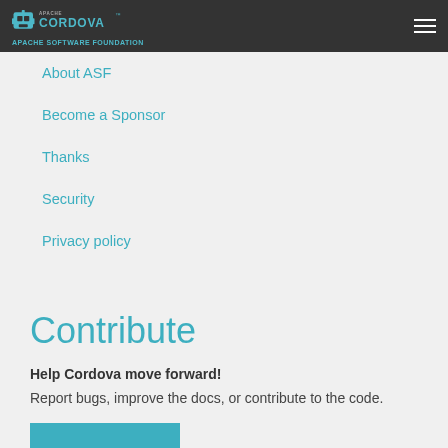Apache Cordova — APACHE SOFTWARE FOUNDATION
About ASF
Become a Sponsor
Thanks
Security
Privacy policy
Contribute
Help Cordova move forward!
Report bugs, improve the docs, or contribute to the code.